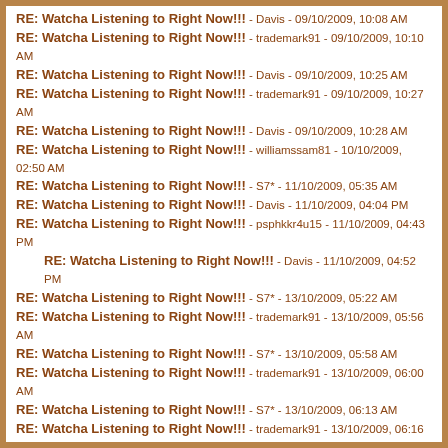RE: Watcha Listening to Right Now!!! - Davis - 09/10/2009, 10:08 AM
RE: Watcha Listening to Right Now!!! - trademark91 - 09/10/2009, 10:10 AM
RE: Watcha Listening to Right Now!!! - Davis - 09/10/2009, 10:25 AM
RE: Watcha Listening to Right Now!!! - trademark91 - 09/10/2009, 10:27 AM
RE: Watcha Listening to Right Now!!! - Davis - 09/10/2009, 10:28 AM
RE: Watcha Listening to Right Now!!! - williamssam81 - 10/10/2009, 02:50 AM
RE: Watcha Listening to Right Now!!! - S7* - 11/10/2009, 05:35 AM
RE: Watcha Listening to Right Now!!! - Davis - 11/10/2009, 04:04 PM
RE: Watcha Listening to Right Now!!! - psphkkr4u15 - 11/10/2009, 04:43 PM
RE: Watcha Listening to Right Now!!! - Davis - 11/10/2009, 04:52 PM
RE: Watcha Listening to Right Now!!! - S7* - 13/10/2009, 05:22 AM
RE: Watcha Listening to Right Now!!! - trademark91 - 13/10/2009, 05:56 AM
RE: Watcha Listening to Right Now!!! - S7* - 13/10/2009, 05:58 AM
RE: Watcha Listening to Right Now!!! - trademark91 - 13/10/2009, 06:00 AM
RE: Watcha Listening to Right Now!!! - S7* - 13/10/2009, 06:13 AM
RE: Watcha Listening to Right Now!!! - trademark91 - 13/10/2009, 06:16 AM
RE: Watcha Listening to Right Now!!! - S7* - 13/10/2009, 06:19 AM